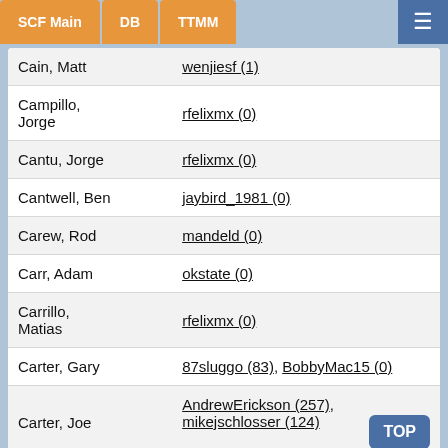SCF Main | DB | TTMM
Cain, Matt — wenjiesf (1)
Campillo, Jorge — rfelixmx (0)
Cantu, Jorge — rfelixmx (0)
Cantwell, Ben — jaybird_1981 (0)
Carew, Rod — mandeld (0)
Carr, Adam — okstate (0)
Carrillo, Matias — rfelixmx (0)
Carter, Gary — 87sluggo (83), BobbyMac15 (0)
Carter, Joe — AndrewErickson (257), mikejschlosser (124)